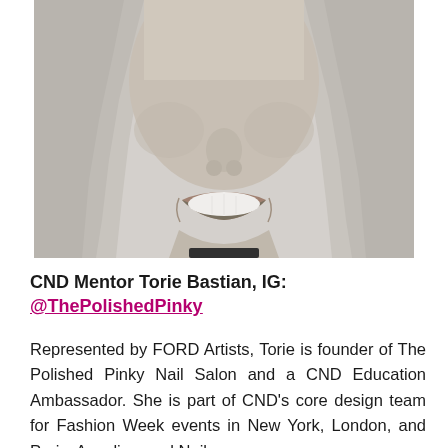[Figure (photo): Black and white close-up portrait photo of a smiling woman with long light-colored hair, cropped at approximately the nose/mouth area showing a wide smile.]
CND Mentor Torie Bastian, IG:
@ThePolishedPinky
Represented by FORD Artists, Torie is founder of The Polished Pinky Nail Salon and a CND Education Ambassador. She is part of CND's core design team for Fashion Week events in New York, London, and Paris. As a licensed Nail